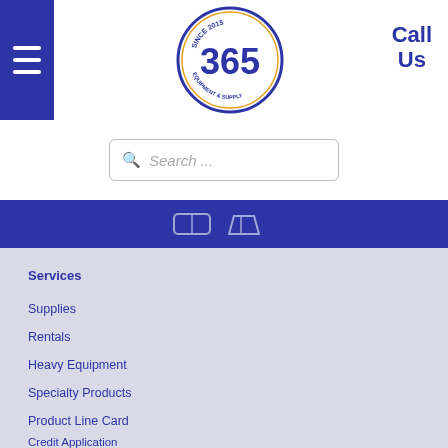[Figure (logo): 365 Equipment & Supply circular logo with 'Since 2015' text]
Call Us
Search ...
Services
Supplies
Rentals
Heavy Equipment
Specialty Products
Product Line Card
Credit Application